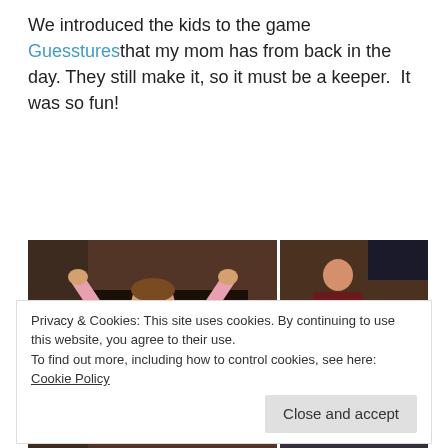We introduced the kids to the game Guesstures that my mom has from back in the day. They still make it, so it must be a keeper.  It was so fun!
[Figure (photo): A collage of four photos showing children and an adult playing the board game Guesstures in front of a brick fireplace. Left: a girl in pink pajamas with arms raised. Center: a boy holding a blue card. Top right: a boy standing at the game timer on a stool. Bottom right: an adult in a yellow sweater.]
Privacy & Cookies: This site uses cookies. By continuing to use this website, you agree to their use.
To find out more, including how to control cookies, see here: Cookie Policy